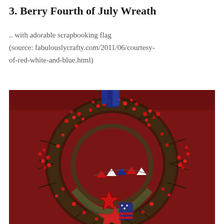3. Berry Fourth of July Wreath
.. with adorable scrapbooking flag (source: fabulouslycrafty.com/2011/06/courtesy-of-red-white-and-blue.html)
[Figure (photo): A decorative Fourth of July wreath made of dark twigs adorned with many small red berries, hanging on a dark red door. In the center and lower portion of the wreath are patriotic scrapbooking decorations including a red star, mini bunting flags in red, white and blue patterns, and a larger star-shaped embellishment with American flag designs.]